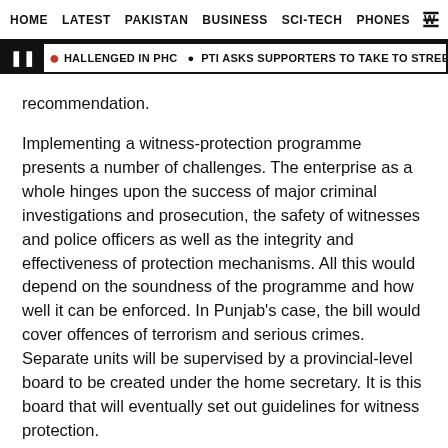HOME   LATEST   PAKISTAN   BUSINESS   SCI-TECH   PHONES   W ≡
❚ HALLENGED IN PHC 🔴 PTI ASKS SUPPORTERS TO TAKE TO STREETS AMID POSSIBIL
recommendation.
Implementing a witness-protection programme presents a number of challenges. The enterprise as a whole hinges upon the success of major criminal investigations and prosecution, the safety of witnesses and police officers as well as the integrity and effectiveness of protection mechanisms. All this would depend on the soundness of the programme and how well it can be enforced. In Punjab's case, the bill would cover offences of terrorism and serious crimes. Separate units will be supervised by a provincial-level board to be created under the home secretary. It is this board that will eventually set out guidelines for witness protection.
The closing words of this paragraph are cut off at the bottom of the page.